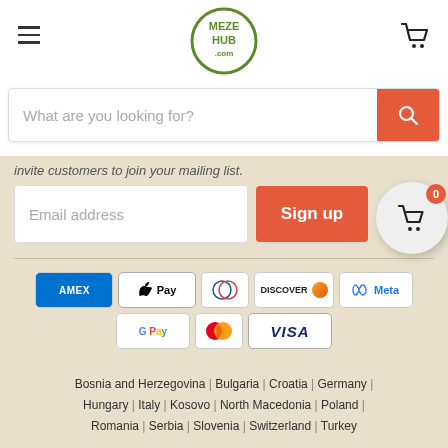[Figure (logo): MezeHub.com logo - circular green border with MEZE HUB .com text in green]
What are you looking for?
invite customers to join your mailing list.
Email address
Sign up
[Figure (infographic): Payment method icons: AMEX, Apple Pay, Diners Club, Discover, Meta Pay, Google Pay, Mastercard, VISA]
Bosnia and Herzegovina | Bulgaria | Croatia | Germany | Hungary | Italy | Kosovo | North Macedonia | Poland | Romania | Serbia | Slovenia | Switzerland | Turkey